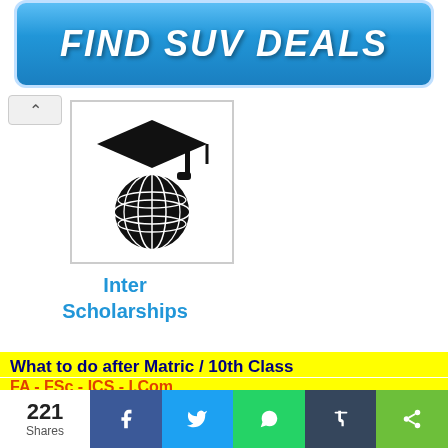[Figure (other): Blue gradient button/banner with bold italic white text reading FIND SUV DEALS]
[Figure (logo): Globe with mortarboard graduation cap icon in black, representing Inter Scholarships website]
Inter
Scholarships
What to do after Matric / 10th Class
FA - FSc - ICS - I.Com
The Board of Intermediate and Secondary Education, Malakand is one the largest educational board of KPK. The board has been organizing the examination of matriculation and intermediate level for years. This year the board has organized the examination of matriculation in the month of April,
[Figure (other): Social share bar showing 221 Shares, with Facebook, Twitter, WhatsApp, Tumblr, and share buttons]